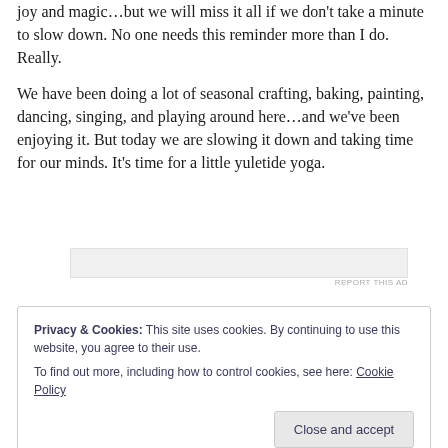joy and magic…but we will miss it all if we don't take a minute to slow down. No one needs this reminder more than I do. Really.
We have been doing a lot of seasonal crafting, baking, painting, dancing, singing, and playing around here…and we've been enjoying it. But today we are slowing it down and taking time for our minds. It's time for a little yuletide yoga.
[Figure (other): Advertisement placeholder banner]
REPORT THIS AD
Privacy & Cookies: This site uses cookies. By continuing to use this website, you agree to their use.
To find out more, including how to control cookies, see here: Cookie Policy